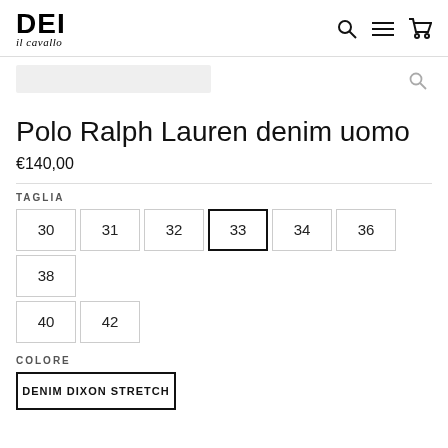DEI il cavallo
[Figure (screenshot): Search bar background area with search icon]
Polo Ralph Lauren denim uomo
€140,00
TAGLIA
30 31 32 33 (selected) 34 36 38 40 42
COLORE
DENIM DIXON STRETCH